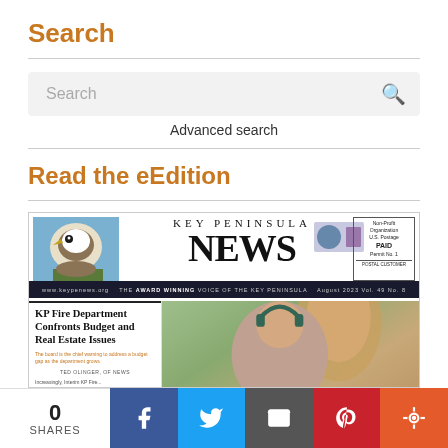Search
Search
Advanced search
Read the eEdition
[Figure (screenshot): Key Peninsula News newspaper front page showing masthead with bird photo, 'KEY PENINSULA NEWS' title, postage box, dark banner bar reading 'THE AWARD WINNING VOICE OF THE KEY PENINSULA — August 2023 Vol. 49 No. 8', left column with headline 'KP Fire Department Confronts Budget and Real Estate Issues' with orange subtext and byline, right side showing photo of man with headphones and wooden sculpture]
0 SHARES  [Facebook] [Twitter] [Email] [Pinterest] [More]